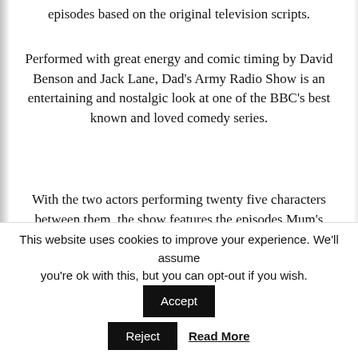episodes based on the original television scripts.
Performed with great energy and comic timing by David Benson and Jack Lane, Dad's Army Radio Show is an entertaining and nostalgic look at one of the BBC's best known and loved comedy series.
With the two actors performing twenty five characters between them, the show features the episodes Mum's Army, The Deadly Attachment and Round And Round Went The Great Big Wheel – each featuring some of the many well known catch-phrases that have become a fond part of British comedy. To comment on the plots would
This website uses cookies to improve your experience. We'll assume you're ok with this, but you can opt-out if you wish.